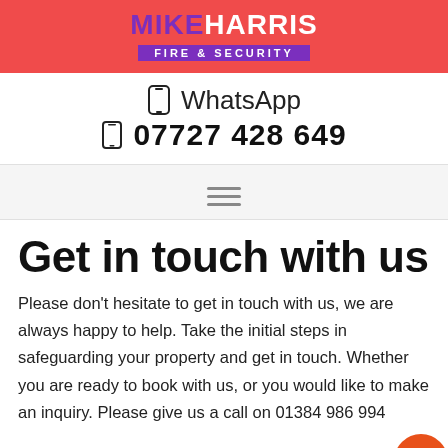MIKE HARRIS FIRE & SECURITY
WhatsApp
07727 428 649
Get in touch with us
Please don't hesitate to get in touch with us, we are always happy to help. Take the initial steps in safeguarding your property and get in touch. Whether you are ready to book with us, or you would like to make an inquiry. Please give us a call on 01384 986 994